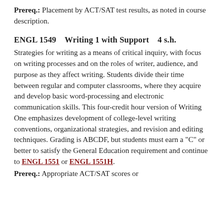Prereq.: Placement by ACT/SAT test results, as noted in course description.
ENGL 1549    Writing 1 with Support    4 s.h.
Strategies for writing as a means of critical inquiry, with focus on writing processes and on the roles of writer, audience, and purpose as they affect writing. Students divide their time between regular and computer classrooms, where they acquire and develop basic word-processing and electronic communication skills. This four-credit hour version of Writing One emphasizes development of college-level writing conventions, organizational strategies, and revision and editing techniques. Grading is ABCDF, but students must earn a "C" or better to satisfy the General Education requirement and continue to ENGL 1551 or ENGL 1551H.
Prereq.: Appropriate ACT/SAT scores or